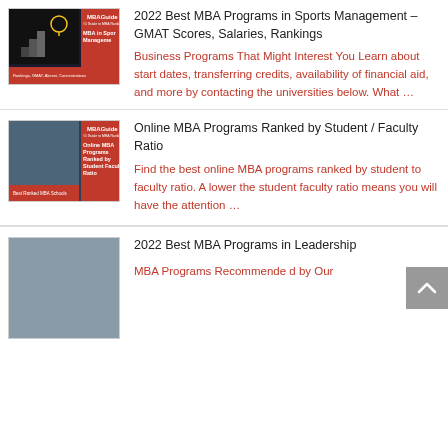[Figure (illustration): MBAGuide book cover for MBA in Sports Management with rankings, GMAT, alumni, concentrations]
2022 Best MBA Programs in Sports Management – GMAT Scores, Salaries, Rankings
Business Programs That Might Interest You Learn about start dates, transferring credits, availability of financial aid, and more by contacting the universities below. What …
[Figure (illustration): MBAGuide book cover for Online MBA Programs Ranked by Student Faculty Ratio, Best Ranked MBA Schools]
Online MBA Programs Ranked by Student / Faculty Ratio
Find the best online MBA programs ranked by student to faculty ratio. A lower the student faculty ratio means you will have the attention …
[Figure (illustration): Partial MBAGuide book cover for 2022 Best MBA Programs in Leadership]
2022 Best MBA Programs in Leadership
MBA Programs Recommended by Our